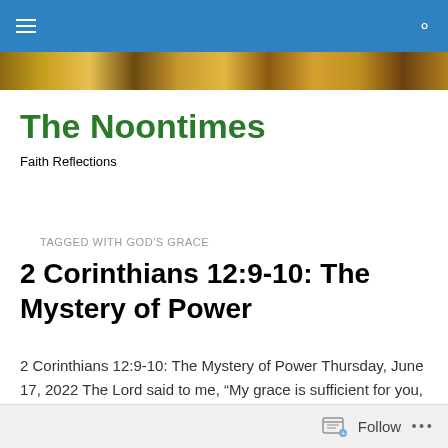The Noontimes — navigation bar
[Figure (photo): Decorative mosaic/icon banner strip at top of page]
The Noontimes
Faith Reflections
[Figure (photo): Decorative mosaic/icon banner strip below site title]
TAGGED WITH GOD'S GRACE
2 Corinthians 12:9-10: The Mystery of Power
2 Corinthians 12:9-10: The Mystery of Power Thursday, June 17, 2022 The Lord said to me, “My grace is sufficient for you, for power is made perfect in weakness”. I will
Follow